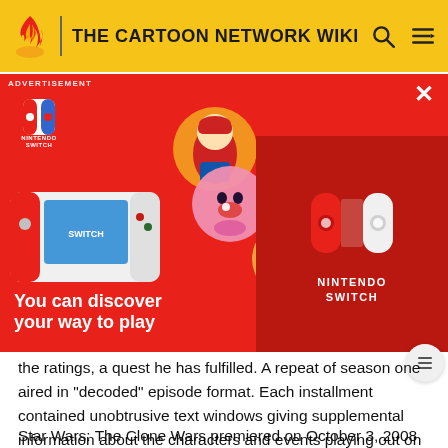THE CARTOON NETWORK WIKI
[Figure (screenshot): Nintendo Switch advertisement banner with red background showing Mario, Kirby, Isabelle characters and Nintendo Switch console logo. Tagline reads 'You can discover your way to play']
the ratings, a quest he has fulfilled. A repeat of season one aired in "decoded" episode format. Each installment contained unobtrusive text windows giving supplemental information about the characters and events playing out on screen.
Star Wars: The Clone Wars premiered on October 3, 2008 at 9 PM on Cartoon Network. The Clone Wars on Cartoon Network is shown in a 16:9 (1.77:1) aspect ratio, cropped from its original aspect ratio (OAR) of 2.35:1 (as seen in the